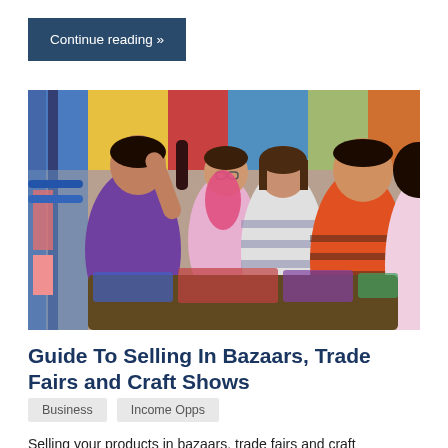Continue reading »
[Figure (photo): Women browsing and selling colorful clothing at an outdoor bazaar or market stall. A vendor in purple holds up clothing items for customers to view, with lots of fabric, hangers, and merchandise visible in the background.]
Guide To Selling In Bazaars, Trade Fairs and Craft Shows
Business
Income Opps
Selling your products in bazaars, trade fairs and craft